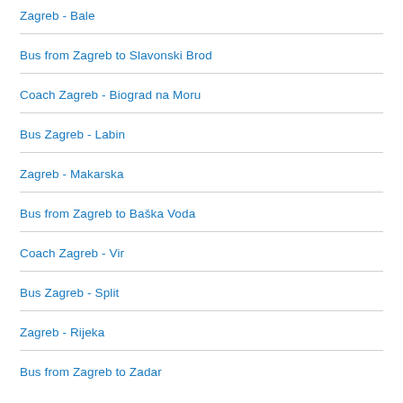Zagreb - Bale
Bus from Zagreb to Slavonski Brod
Coach Zagreb - Biograd na Moru
Bus Zagreb - Labin
Zagreb - Makarska
Bus from Zagreb to Baška Voda
Coach Zagreb - Vir
Bus Zagreb - Split
Zagreb - Rijeka
Bus from Zagreb to Zadar